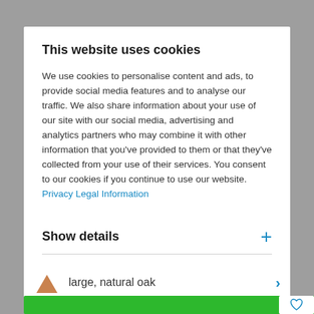This website uses cookies
We use cookies to personalise content and ads, to provide social media features and to analyse our traffic. We also share information about your use of our site with our social media, advertising and analytics partners who may combine it with other information that you've provided to them or that they've collected from your use of their services. You consent to our cookies if you continue to use our website. Privacy Legal Information
Show details
Allow all cookies
large, natural oak